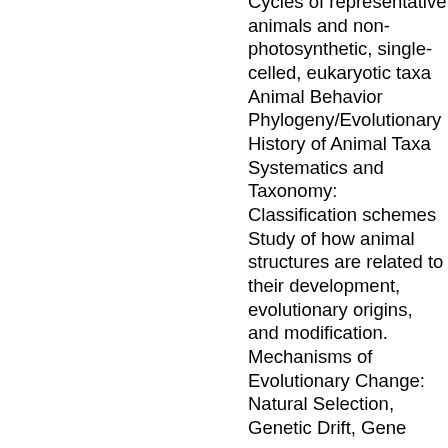Cycles of representative animals and non-photosynthetic, single-celled, eukaryotic taxa Animal Behavior Phylogeny/Evolutionary History of Animal Taxa Systematics and Taxonomy: Classification schemes Study of how animal structures are related to their development, evolutionary origins, and modification. Mechanisms of Evolutionary Change: Natural Selection, Genetic Drift, Gene